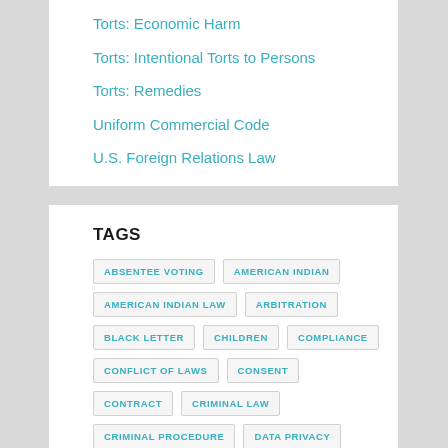Torts: Economic Harm
Torts: Intentional Torts to Persons
Torts: Remedies
Uniform Commercial Code
U.S. Foreign Relations Law
TAGS
ABSENTEE VOTING
AMERICAN INDIAN
AMERICAN INDIAN LAW
ARBITRATION
BLACK LETTER
CHILDREN
COMPLIANCE
CONFLICT OF LAWS
CONSENT
CONTRACT
CRIMINAL LAW
CRIMINAL PROCEDURE
DATA PRIVACY
DATA SECURITY
ELECTION